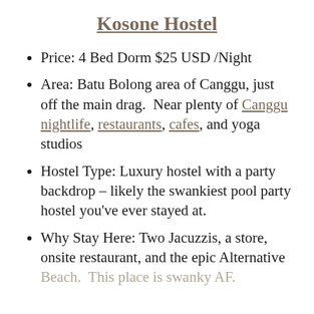Kosone Hostel
Price: 4 Bed Dorm $25 USD /Night
Area: Batu Bolong area of Canggu, just off the main drag.  Near plenty of Canggu nightlife, restaurants, cafes, and yoga studios
Hostel Type: Luxury hostel with a party backdrop – likely the swankiest pool party hostel you've ever stayed at.
Why Stay Here: Two Jacuzzis, a store, onsite restaurant, and the epic Alternative Beach.  This place is swanky AF.